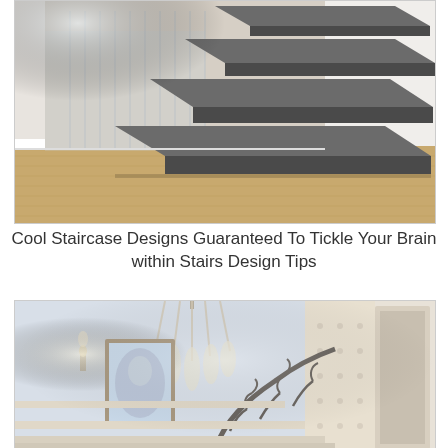[Figure (photo): Modern floating staircase with dark grey cantilevered steps and glass/wire balustrade over light oak hardwood floor, interior architectural rendering]
Cool Staircase Designs Guaranteed To Tickle Your Brain within Stairs Design Tips
[Figure (photo): Elegant classical staircase interior with ornate wrought-iron balustrade, crystal chandelier, wall sconce, framed painting, and upholstered wall panel]